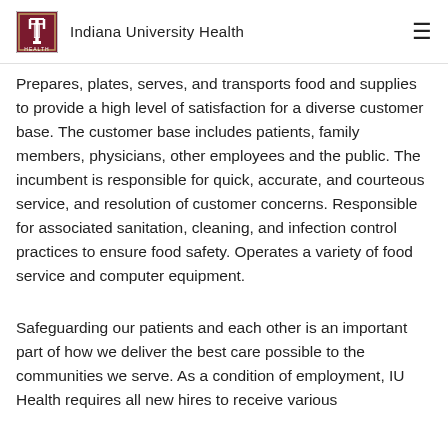Indiana University Health
Prepares, plates, serves, and transports food and supplies to provide a high level of satisfaction for a diverse customer base. The customer base includes patients, family members, physicians, other employees and the public. The incumbent is responsible for quick, accurate, and courteous service, and resolution of customer concerns. Responsible for associated sanitation, cleaning, and infection control practices to ensure food safety. Operates a variety of food service and computer equipment.
Safeguarding our patients and each other is an important part of how we deliver the best care possible to the communities we serve. As a condition of employment, IU Health requires all new hires to receive various